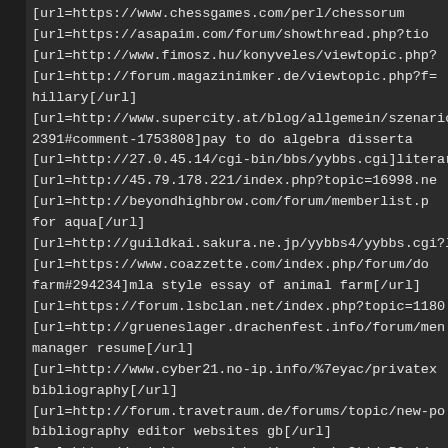[url=https://www.chessgames.com/perl/chessfor...
[url=https://asapaim.com/forum/showthread.php?ti...
[url=http://www.fimosz.hu/konyveles/viewtopic.php?...
[url=http://forum.magazinimker.de/viewtopic.php?f=...
hillary[/url]
[url=http://www.supercity.at/blog/allgemein/szenario...
2391#comment-1753808]pay to do algebra disserta...
[url=http://27.0.45.14/cgi-bin/bbs/yybbs.cgi]literary c...
[url=http://45.79.178.221/index.php?topic=16998.ne...
[url=http://beyondhighbrow.com/forum/memberlist.p...
for aqua[/url]
[url=http://guildkai.sakura.ne.jp/yybbs4/yybbs.cgi?li...
[url=https://www.coazzette.com/index.php/forum/do...
farm#294234]mla style essay of animal farm[/url]
[url=https://forum.lsbclan.net/index.php?topic=1180...
[url=http://grueneslager.drachenfest.info/forum/men...
manager resume[/url]
[url=http://www.cyber21.no-ip.info/%7eyac/privatex...
bibliography[/url]
[url=http://forum.travetraum.de/forums/topic/new-po...
bibliography editor websites gb[/url]
[url=http://pojektgr.com/showthread.php?tid=5&pid=...
college[/url]
[url=https://www.mac-it.ch/forum/showthread.php?t...
[url=http://rawsteroidforums.com/viewtopic.php?f=2...
coursework[/url]
[url=https://diropia.com/?post_type=topic&p=12901...